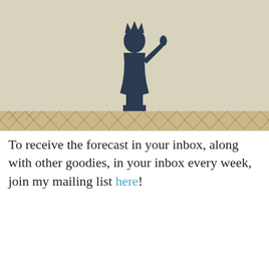[Figure (illustration): Partial view of a book or blog cover image: a figure (Statue of Liberty style) silhouette on a beige/cream background with a decorative diamond/star border pattern at the bottom. Handwritten-style text partially visible at top reading 'and how to find me on Facebook'.]
To receive the forecast in your inbox, along with other goodies, in your inbox every week, join my mailing list here!
[Figure (illustration): Tarot card image showing a sun with rays and a tall plant/wand, in yellow and green tones.]
It’s the 3nd week of the year and the card of the
Privacy & Cookies: This site uses cookies. By continuing to use this website, you agree to their use.
To find out more, including how to control cookies, see here: Cookie Policy
Close and accept